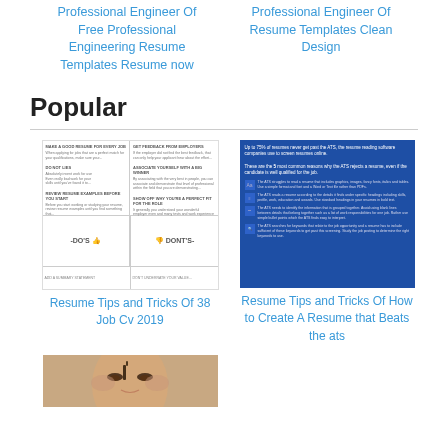Professional Engineer Of Free Professional Engineering Resume Templates Resume now
Professional Engineer Of Resume Templates Clean Design
Popular
[Figure (infographic): Resume do's and don'ts infographic with two columns showing tips for job seekers]
Resume Tips and Tricks Of 38 Job Cv 2019
[Figure (infographic): Blue infographic about ATS resume tips explaining how to create a resume that beats the ATS system]
Resume Tips and Tricks Of How to Create A Resume that Beats the ats
[Figure (photo): Close-up photo of a woman's face]